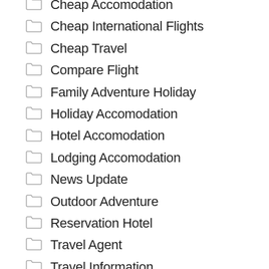Cheap Accomodation
Cheap International Flights
Cheap Travel
Compare Flight
Family Adventure Holiday
Holiday Accomodation
Hotel Accomodation
Lodging Accomodation
News Update
Outdoor Adventure
Reservation Hotel
Travel Agent
Travel Information
Travel Insurance